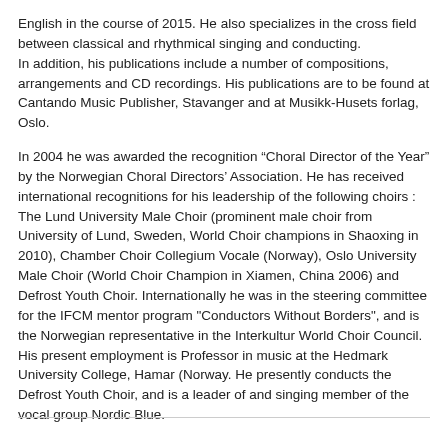English in the course of 2015. He also specializes in the cross field between classical and rhythmical singing and conducting. In addition, his publications include a number of compositions, arrangements and CD recordings. His publications are to be found at Cantando Music Publisher, Stavanger and at Musikk-Husets forlag, Oslo.
In 2004 he was awarded the recognition “Choral Director of the Year” by the Norwegian Choral Directors’ Association. He has received international recognitions for his leadership of the following choirs : The Lund University Male Choir (prominent male choir from University of Lund, Sweden, World Choir champions in Shaoxing in 2010), Chamber Choir Collegium Vocale (Norway), Oslo University Male Choir (World Choir Champion in Xiamen, China 2006) and Defrost Youth Choir. Internationally he was in the steering committee for the IFCM mentor program "Conductors Without Borders", and is the Norwegian representative in the Interkultur World Choir Council. His present employment is Professor in music at the Hedmark University College, Hamar (Norway. He presently conducts the Defrost Youth Choir, and is a leader of and singing member of the vocal group Nordic Blue.